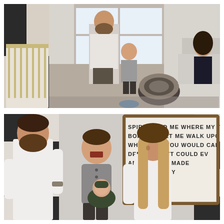[Figure (photo): A family in a nursery room with black and white buffalo check wallpaper. A bearded father kneels on the floor as a toddler boy in a grey hoodie and dark pants walks toward the camera laughing. A woman sits in a grey upholstered chair on the right side, relaxing. A patterned ottoman/pouf sits in the center. A white crib is visible on the left.]
[Figure (photo): A couple holding two children — a laughing toddler boy in a grey outfit and a swaddled newborn baby in dark green — against a black and white buffalo check wall. A framed sign with partial text reading 'BORDERS LET ME WALK UPON / WHEREVER YOU WOULD CALL M... / DEEP... MY FEET COULD EV... / AND... WILL BE MADE / IN... ENCE OF MY' is visible in the background.]